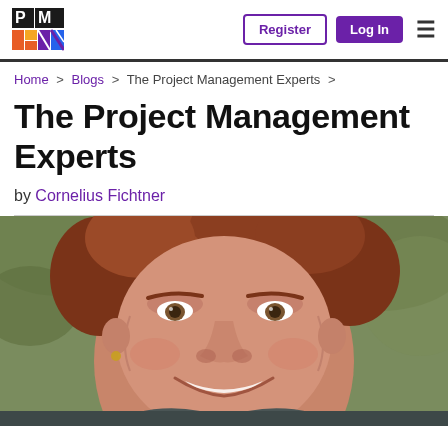PMI logo | Register | Log In | Menu
Home > Blogs > The Project Management Experts >
The Project Management Experts
by Cornelius Fichtner
[Figure (photo): Close-up photo of Cornelius Fichtner, a man with reddish-brown hair smiling, green blurred foliage background, wearing a dark shirt]